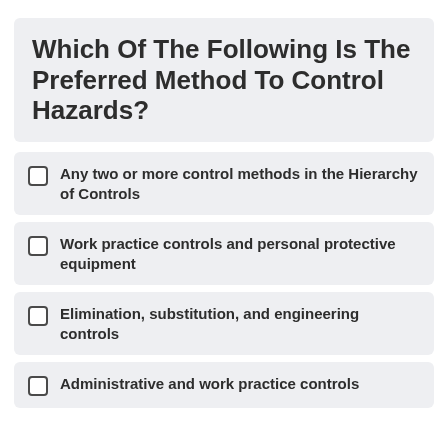Which Of The Following Is The Preferred Method To Control Hazards?
Any two or more control methods in the Hierarchy of Controls
Work practice controls and personal protective equipment
Elimination, substitution, and engineering controls
Administrative and work practice controls